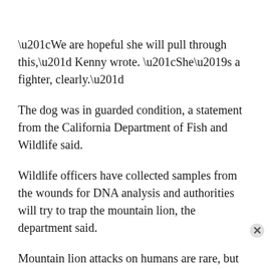“We are hopeful she will pull through this,” Kenny wrote. “She’s a fighter, clearly.”
The dog was in guarded condition, a statement from the California Department of Fish and Wildlife said.
Wildlife officers have collected samples from the wounds for DNA analysis and authorities will try to trap the mountain lion, the department said.
Mountain lion attacks on humans are rare, but in such cases the animals usually are killed if they are caught.
Meanwhile, Wilson said she hopes Eva will recover. She has started a GoFundMe page to raise money for the vet bills, and she’s already planning how to thank Eva with